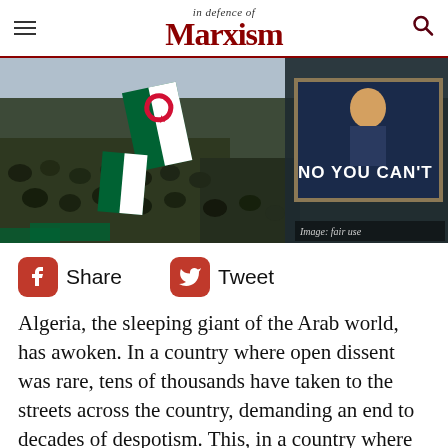In defence of Marxism
[Figure (photo): Large protest crowd scene with Algerian flags and a sign reading NO YOU CAN'T. Image: fair use]
Share   Tweet
Algeria, the sleeping giant of the Arab world, has awoken. In a country where open dissent was rare, tens of thousands have taken to the streets across the country, demanding an end to decades of despotism. This, in a country where street protests